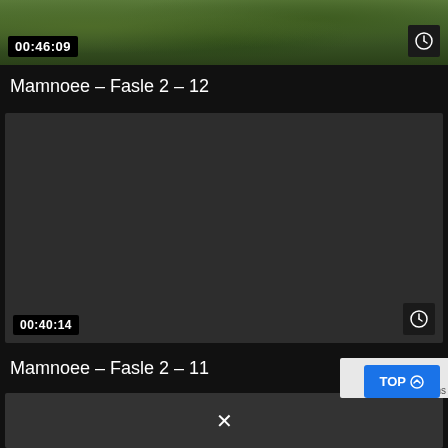[Figure (screenshot): Video thumbnail showing a garden/green outdoor scene with timestamp 00:46:09 and clock icon]
Mamnoee – Fasle 2 – 12
[Figure (screenshot): Dark video thumbnail with timestamp 00:40:14 and clock icon]
Mamnoee – Fasle 2 – 11
[Figure (screenshot): Partially visible dark video thumbnail with X close button and TOP button overlay]